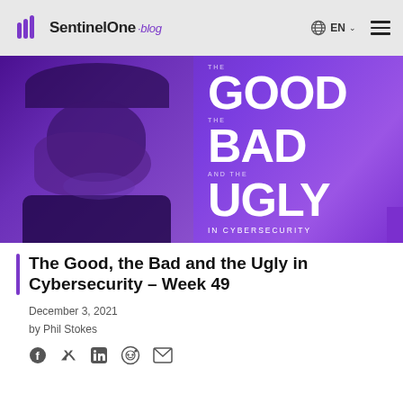SentinelOne blog | EN | menu
[Figure (illustration): Hero banner for 'The Good, the Bad and the Ugly in Cybersecurity' blog series. Left half shows a purple-tinted silhouette of a person covering their face with their hand. Right half shows large bold white text reading 'THE GOOD THE BAD AND THE UGLY IN CYBERSECURITY' on a purple gradient background.]
The Good, the Bad and the Ugly in Cybersecurity – Week 49
December 3, 2021
by Phil Stokes
[Figure (infographic): Social sharing icons: Facebook, Twitter, LinkedIn, Reddit, Email]